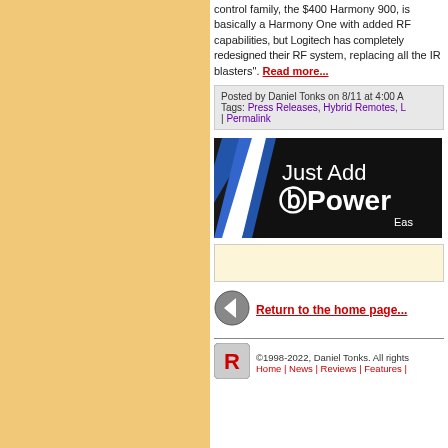control family, the $400 Harmony 900, is basically a Harmony One with added RF capabilities, but Logitech has completely redesigned their RF system, replacing all the IR blasters". Read more...
Posted by Daniel Tonks on 8/11 at 4:00 A
Tags: Press Releases, Hybrid Remotes, | Permalink
[Figure (other): Just Add Power advertisement banner with diagonal blue and white stripes on black background. Text reads 'Just Add Power' and 'Eas']
Return to the home page...
©1998-2022, Daniel Tonks. All rights Home | News | Reviews | Features |